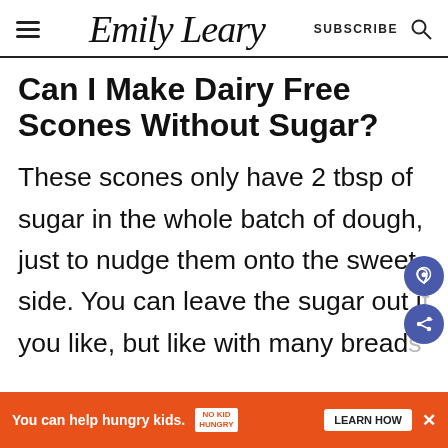Emily Leary — SUBSCRIBE
Can I Make Dairy Free Scones Without Sugar?
These scones only have 2 tbsp of sugar in the whole batch of dough, just to nudge them onto the sweet side. You can leave the sugar out if you like, but like with many breads...
[Figure (other): Ad banner: You can help hungry kids. No Kid Hungry. LEARN HOW]